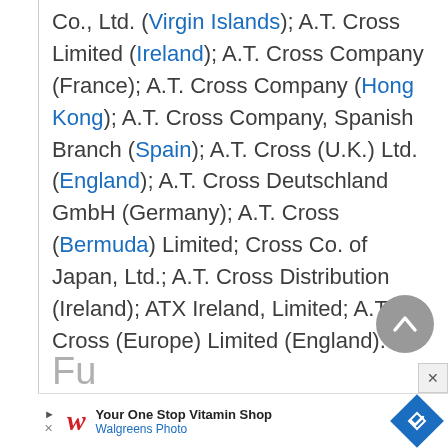Co., Ltd. (Virgin Islands); A.T. Cross Limited (Ireland); A.T. Cross Company (France); A.T. Cross Company (Hong Kong); A.T. Cross Company, Spanish Branch (Spain); A.T. Cross (U.K.) Ltd. (England); A.T. Cross Deutschland GmbH (Germany); A.T. Cross (Bermuda) Limited; Cross Co. of Japan, Ltd.; A.T. Cross Distribution (Ireland); ATX Ireland, Limited; A.T. Cross (Europe) Limited (England).
Fu...